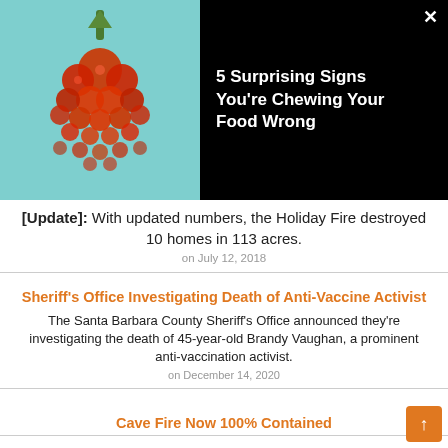[Figure (photo): Advertisement banner with a red berry cluster on a teal background and text '5 Surprising Signs You're Chewing Your Food Wrong' on black background with a close X button.]
[Update]: With updated numbers, the Holiday Fire destroyed 10 homes in 113 acres.
on July 12, 2018
Sheriff's Office Investigating Death of Anti-Vaccine Activist
The Santa Barbara County Sheriff's Office announced they're investigating the death of 45-year-old Brandy Vaughan, a prominent anti-vaccination activist.
on December 14, 2020
Cave Fire Now 100% Contained
[Update]: The Cave Fire is now officially 100% contained as of Saturday at a total of 3,126 acres.
on December 15, 2019
Alisal Fire 97% Contained at 17,281 Acres